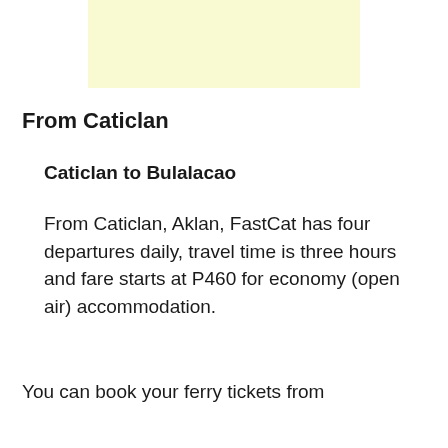[Figure (other): Light yellow/cream colored advertisement banner rectangle]
From Caticlan
Caticlan to Bulalacao
From Caticlan, Aklan, FastCat has four departures daily, travel time is three hours and fare starts at P460 for economy (open air) accommodation.
You can book your ferry tickets from